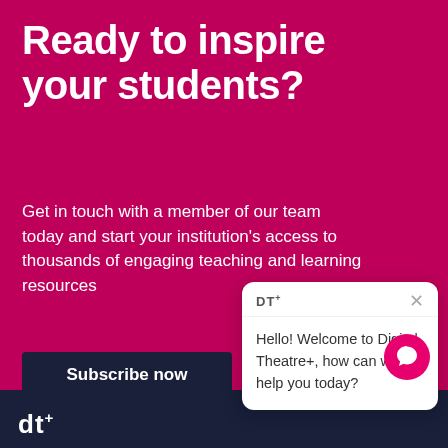Ready to inspire your students?
Get in touch with a member of our team today and start your institution's access to thousands of engaging teaching and learning resources
Subscribe now
[Figure (screenshot): Chat widget popup with DT+ logo header and close button, showing message: Hello! Welcome to Digital Theatre+, how can we help you today?]
[Figure (infographic): Pink circular chat FAB button with chat bubble icon]
dt+